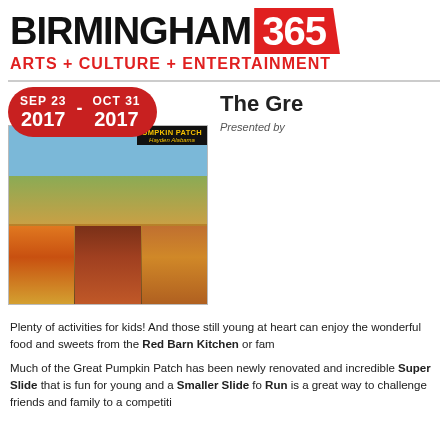[Figure (logo): Birmingham365 logo with red banner containing '365' and tagline 'ARTS + CULTURE + ENTERTAINMENT']
[Figure (photo): Collage of Great Pumpkin Patch in Hayden Alabama showing pumpkin fields, red barn, child with pumpkins, and baby in pumpkin costume. Date badge overlay: SEP 23 - OCT 31 2017]
The Gre
Presented by
Plenty of activities for kids! And those still young at heart can enjoy the wonderful food and sweets from the Red Barn Kitchen or fam
Much of the Great Pumpkin Patch has been newly renovated and incredible Super Slide that is fun for young and a Smaller Slide fo Run is a great way to challenge friends and family to a competiti